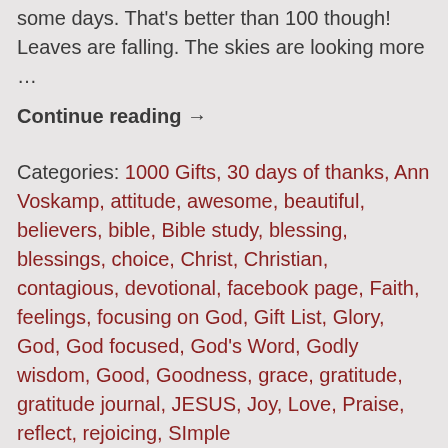some days. That's better than 100 though! Leaves are falling. The skies are looking more …
Continue reading →
Categories: 1000 Gifts, 30 days of thanks, Ann Voskamp, attitude, awesome, beautiful, believers, bible, Bible study, blessing, blessings, choice, Christ, Christian, contagious, devotional, facebook page, Faith, feelings, focusing on God, Gift List, Glory, God, God focused, God's Word, Godly wisdom, Good, Goodness, grace, gratitude, gratitude journal, JESUS, Joy, Love, Praise, reflect, rejoicing, SImple